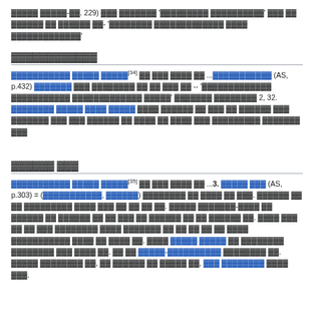▓▓▓▓▓ ▓▓▓▓▓-▓▓. 229) ▓▓▓ ▓▓▓▓▓▓▓ '▓▓▓▓▓▓▓▓▓ ▓▓▓▓▓▓▓▓▓▓' ▓▓▓ ▓▓ ▓▓▓▓▓▓ ▓▓ ▓▓▓▓▓▓ ▓▓ ▓▓- '▓▓▓▓▓▓▓▓ ▓▓▓▓▓▓▓▓▓▓▓▓▓ ▓▓▓▓ ▓▓▓▓▓▓▓▓▓▓▓▓▓'
▓▓▓▓▓▓▓▓▓▓▓▓
▓▓▓▓▓▓▓▓▓▓▓ ▓▓▓▓▓ ▓▓▓▓▓[34] ▓▓ ▓▓▓ ▓▓▓▓ ▓▓ ...▓▓▓▓▓▓▓▓▓▓▓ (AS, p.432) ▓▓▓▓▓▓▓ ▓▓▓ ▓▓▓▓▓▓▓▓ ▓▓ ▓▓ ▓▓▓ ▓▓ -- '▓▓▓▓▓▓▓▓▓▓▓▓▓ ▓▓▓▓▓▓▓▓▓▓▓ ▓▓▓▓▓▓▓▓▓▓▓▓▓ ▓▓▓▓▓' ▓▓▓▓▓▓▓ ▓▓▓▓▓▓▓▓ 2, 32. ▓▓▓▓▓▓▓▓ ▓▓▓▓▓ ▓▓▓▓ ▓▓▓▓▓ ▓▓▓▓ ▓▓▓▓▓▓ ▓▓ ▓▓▓ ▓▓ ▓▓▓▓▓▓ ▓▓▓ ▓▓▓▓▓▓▓ ▓▓▓ ▓▓▓ ▓▓▓▓▓▓ ▓▓ ▓▓▓▓ ▓▓ ▓▓▓▓ ▓▓▓ ▓▓▓▓▓▓▓▓▓ ▓▓▓▓▓▓▓ ▓▓▓
▓▓▓▓▓▓ ▓▓▓
▓▓▓▓▓▓▓▓▓▓▓ ▓▓▓▓▓ ▓▓▓▓▓[35] ▓▓ ▓▓▓ ▓▓▓▓ ▓▓ ...3. ▓▓▓▓▓ ▓▓▓ (AS, p.303) = (▓▓▓▓▓▓▓▓▓▓▓, ▓▓▓▓▓▓) ▓▓▓▓▓▓▓▓ ▓▓ ▓▓▓▓ ▓▓ ▓▓▓. ▓▓▓▓▓▓ ▓▓ ▓▓ ▓▓▓▓▓▓▓▓▓ ▓▓▓▓ ▓▓▓ ▓▓ ▓▓ ▓▓ ▓▓. ▓▓▓▓▓ ▓▓▓▓▓▓▓-▓▓▓▓ ▓▓ ▓▓▓▓▓▓ ▓▓ ▓▓▓▓▓▓ ▓▓ ▓▓ ▓▓▓ ▓▓ ▓▓▓▓▓▓ ▓▓ ▓▓ ▓▓▓▓▓▓ ▓▓. ▓▓▓▓ ▓▓▓ ▓▓ ▓▓ ▓▓▓ ▓▓▓▓▓▓▓▓ ▓▓▓▓ ▓▓▓▓▓▓▓ ▓▓ ▓▓ ▓▓ ▓▓ ▓▓ ▓▓▓▓ ▓▓▓▓▓▓▓▓▓▓▓ ▓▓▓▓ ▓▓ ▓▓▓▓ ▓▓. ▓▓▓▓ ▓▓▓▓▓ ▓▓▓▓▓ ▓▓ ▓▓▓▓▓▓▓▓ ▓▓▓▓▓▓▓▓ ▓▓▓ ▓▓▓▓ ▓▓. ▓▓ ▓▓ ▓▓▓▓▓-▓▓▓▓▓▓▓▓▓▓ ▓▓▓▓▓▓▓▓ ▓▓. ▓▓▓▓▓ ▓▓▓▓▓▓▓▓ ▓▓, ▓▓ ▓▓▓▓▓▓ ▓▓ ▓▓▓▓▓ ▓▓, ▓▓▓ ▓▓▓▓▓▓▓▓ ▓▓▓▓ ▓▓▓.